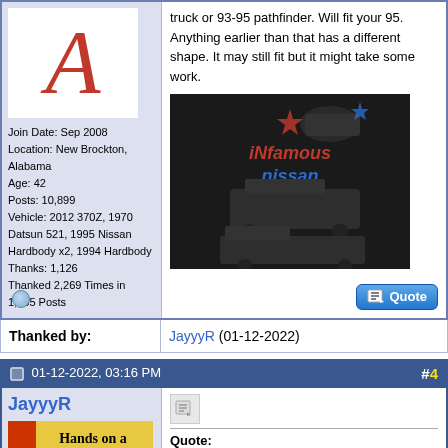truck or 93-95 pathfinder. Will fit your 95. Anything earlier than that has a different shape. It may still fit but it might take some work.
[Figure (photo): Dark t-shirt with 'Infamous Nissan' graphic showing three Nissan trucks/vehicles]
Join Date: Sep 2008
Location: New Brockton, Alabama
Age: 42
Posts: 10,899
Vehicle: 2012 370Z, 1970 Datsun 521, 1995 Nissan Hardbody x2, 1994 Hardbody
Thanks: 1,126
Thanked 2,269 Times in 1,865 Posts
Thanked by:
JayyyR (01-12-2022)
01-12-2022, 03:16 PM
#4
JayyyR
Quote: